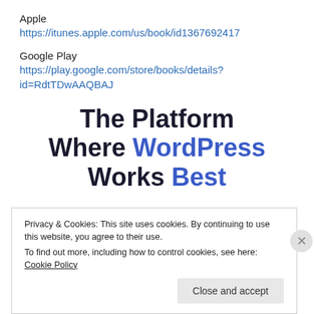Apple
https://itunes.apple.com/us/book/id1367692417
Google Play
https://play.google.com/store/books/details?id=RdtTDwAAQBAJ
The Platform Where WordPress Works Best
Privacy & Cookies: This site uses cookies. By continuing to use this website, you agree to their use.
To find out more, including how to control cookies, see here: Cookie Policy
Close and accept